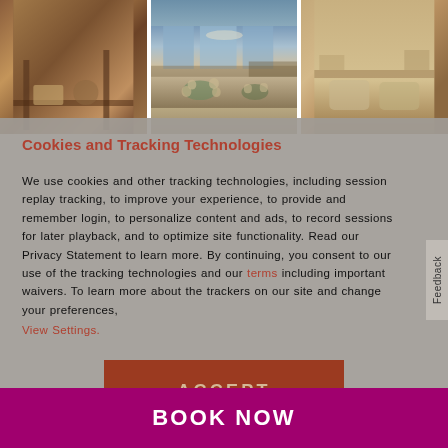[Figure (photo): Three hotel restaurant/lounge interior photos side by side: left shows wooden interior with chairs, center shows modern lounge with round tables and cream chairs near large windows, right shows warm-lit seating area]
Cookies and Tracking Technologies
We use cookies and other tracking technologies, including session replay tracking, to improve your experience, to provide and remember login, to personalize content and ads, to record sessions for later playback, and to optimize site functionality. Read our Privacy Statement to learn more. By continuing, you consent to our use of the tracking technologies and our terms including important waivers. To learn more about the trackers on our site and change your preferences, View Settings.
ACCEPT
BOOK NOW